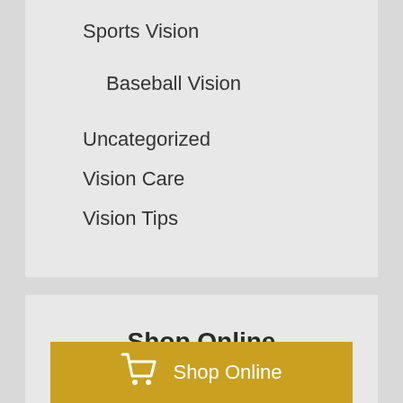Sports Vision
Baseball Vision
Uncategorized
Vision Care
Vision Tips
Shop Online
Browse our online store for contacts and other eye care products.
Shop Online